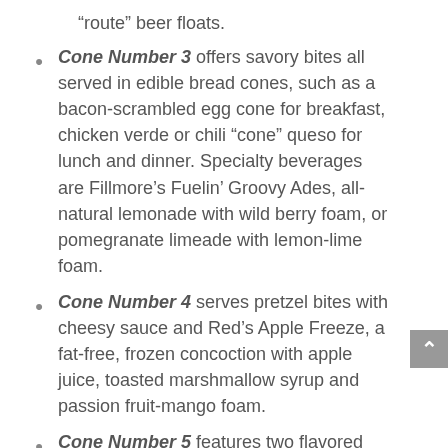“route” beer floats.
Cone Number 3 offers savory bites all served in edible bread cones, such as a bacon-scrambled egg cone for breakfast, chicken verde or chili “cone” queso for lunch and dinner. Specialty beverages are Fillmore’s Fuelin’ Groovy Ades, all-natural lemonade with wild berry foam, or pomegranate limeade with lemon-lime foam.
Cone Number 4 serves pretzel bites with cheesy sauce and Red’s Apple Freeze, a fat-free, frozen concoction with apple juice, toasted marshmallow syrup and passion fruit-mango foam.
Cone Number 5 features two flavored popcorns daily, such as dill pickle and sweet & spicy.  Other flavors include bacon and cheddar, nacho cheese, salt and vinegar. Specialty drink is Doc’s Wild Grape Tonic (Sprite with wild grape syrup and wild